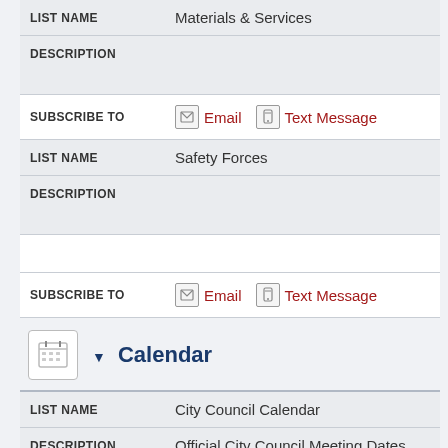| LIST NAME |  |
| --- | --- |
| LIST NAME | Materials & Services |
| DESCRIPTION |  |
| --- | --- |
| DESCRIPTION |  |
SUBSCRIBE TO  Email  Text Message
| LIST NAME |  |
| --- | --- |
| LIST NAME | Safety Forces |
| DESCRIPTION |  |
| --- | --- |
| DESCRIPTION |  |
SUBSCRIBE TO  Email  Text Message
Calendar
| LIST NAME |  |
| --- | --- |
| LIST NAME | City Council Calendar |
| DESCRIPTION |  |
| --- | --- |
| DESCRIPTION | Official City Council Meeting Dates |